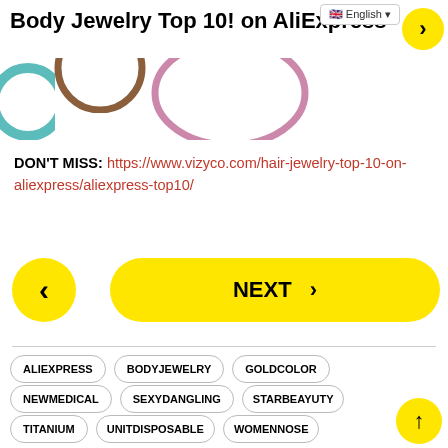Body Jewelry Top 10! on AliExpress
[Figure (illustration): Partial rings/jewelry items visible at top of page — teal, brown, and pink rings]
DON'T MISS: https://www.vizyco.com/hair-jewelry-top-10-on-aliexpress/aliexpress-top10/
NEXT
ALIEXPRESS
BODYJEWELRY
GOLDCOLOR
NEWMEDICAL
SEXYDANGLING
STARBEAYUTY
TITANIUM
UNITDISPOSABLE
WOMENNOSE